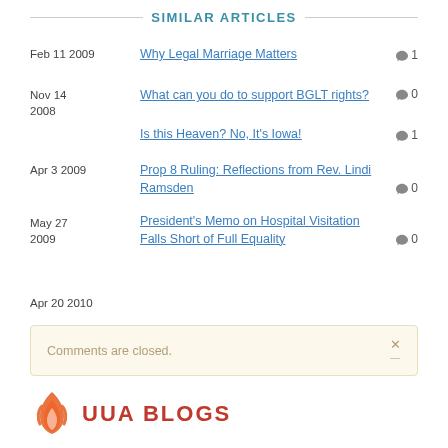SIMILAR ARTICLES
Feb 11 2009 Why Legal Marriage Matters 💬1
Nov 14 2008 What can you do to support BGLT rights? 💬0
Nov 14 2008 Is this Heaven? No, It's Iowa! 💬1
Apr 3 2009 Prop 8 Ruling: Reflections from Rev. Lindi Ramsden 💬0
May 27 2009 President's Memo on Hospital Visitation Falls Short of Full Equality 💬0
Apr 20 2010
Comments are closed.
[Figure (logo): UUA Blogs logo with flame icon and red text]